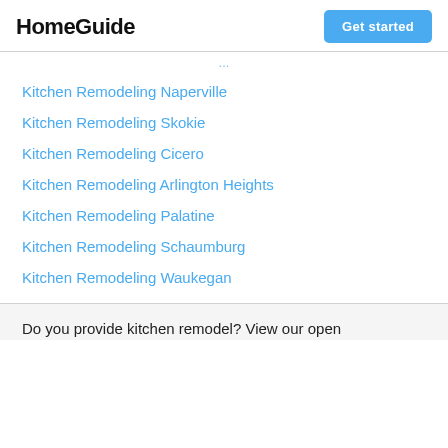HomeGuide | Get started
Kitchen Remodeling Naperville
Kitchen Remodeling Skokie
Kitchen Remodeling Cicero
Kitchen Remodeling Arlington Heights
Kitchen Remodeling Palatine
Kitchen Remodeling Schaumburg
Kitchen Remodeling Waukegan
Do you provide kitchen remodel? View our open